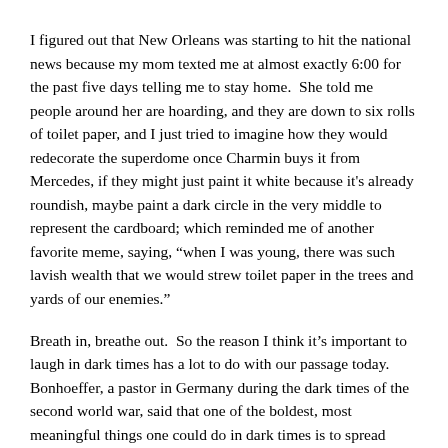I figured out that New Orleans was starting to hit the national news because my mom texted me at almost exactly 6:00 for the past five days telling me to stay home.  She told me people around her are hoarding, and they are down to six rolls of toilet paper, and I just tried to imagine how they would redecorate the superdome once Charmin buys it from Mercedes, if they might just paint it white because it's already roundish, maybe paint a dark circle in the very middle to represent the cardboard; which reminded me of another favorite meme, saying, “when I was young, there was such lavish wealth that we would strew toilet paper in the trees and yards of our enemies.”
Breath in, breathe out.  So the reason I think it’s important to laugh in dark times has a lot to do with our passage today.  Bonhoeffer, a pastor in Germany during the dark times of the second world war, said that one of the boldest, most meaningful things one could do in dark times is to spread hilaritas, or good humor, as a “gleeful defiance of the Nothing, gleeful audacity.”  Chesterton, writing in the dark times leading up to the first world war, writes that the mirth or good humor of God was the “one thing that was too great for God to show us when He walked upon our earth,” and argued that